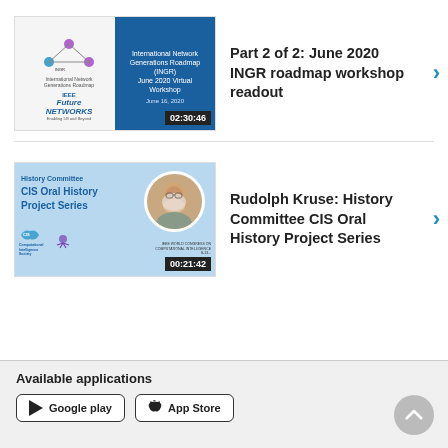[Figure (screenshot): Thumbnail for INGR June 2020 Virtual Workshop video with IEEE Future Networks logo and duration 02:30:46]
Part 2 of 2: June 2020 INGR roadmap workshop readout
[Figure (screenshot): Thumbnail for History Committee CIS Oral History Project Series video featuring Rudolph Kruse, duration 00:21:42]
Rudolph Kruse: History Committee CIS Oral History Project Series
Available applications
Google play   App Store